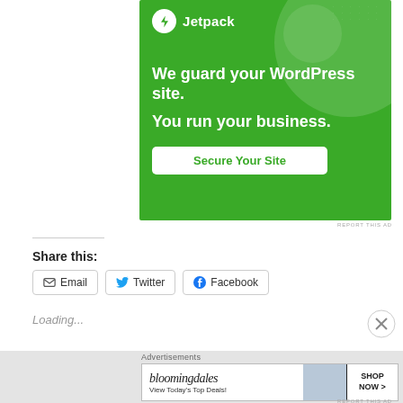[Figure (advertisement): Jetpack advertisement on green background. Shows Jetpack logo (bolt icon in white circle) and wordmark. Text: 'We guard your WordPress site. You run your business.' with a 'Secure Your Site' button.]
REPORT THIS AD
Share this:
Email
Twitter
Facebook
Loading...
Advertisements
[Figure (advertisement): Bloomingdale's advertisement showing 'bloomingdales' wordmark in italic serif font, text 'View Today's Top Deals!' and 'SHOP NOW >' button on the right, with image of woman in hat.]